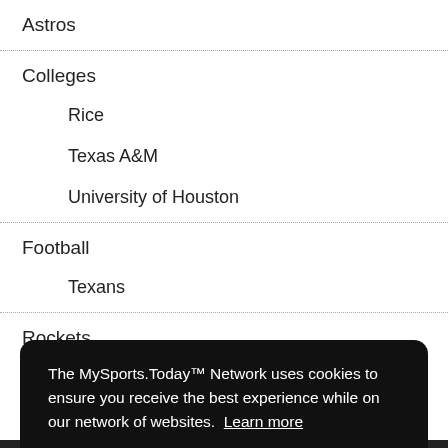Astros
Colleges
Rice
Texas A&M
University of Houston
Football
Texans
Rockets
The MySports.Today™ Network uses cookies to ensure you receive the best experience while on our network of websites. Learn more
Got it!